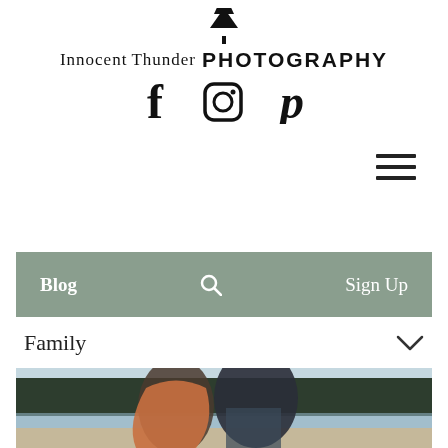[Figure (logo): Innocent Thunder Photography logo with a pine tree icon between the words, serif italic font for 'Innocent Thunder' and bold uppercase sans-serif for 'PHOTOGRAPHY']
[Figure (infographic): Three social media icons: Facebook (f), Instagram (camera outline), Pinterest (p) — displayed horizontally centered in black]
[Figure (other): Hamburger menu icon (three horizontal lines) in upper right area]
Blog   Sign Up
Family
[Figure (photo): Outdoor photograph of a couple at a lake/beach setting. A man with a beard leans over a woman with long red hair; both are smiling. A forested shoreline visible in background. Man wearing a plaid shirt.]